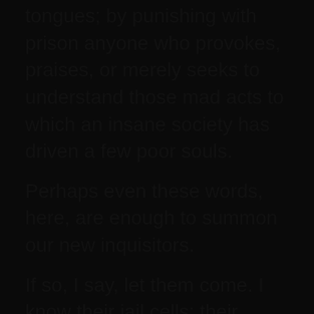tongues; by punishing with prison anyone who provokes, praises, or merely seeks to understand those mad acts to which an insane society has driven a few poor souls.

Perhaps even these words, here, are enough to summon our new inquisitors.

If so, I say, let them come. I know their jail cells; their guards are my comrades and friends. Scoundrel laws, like the scoundrels who created them, must one day lose their power. It is a law of justice and nature.